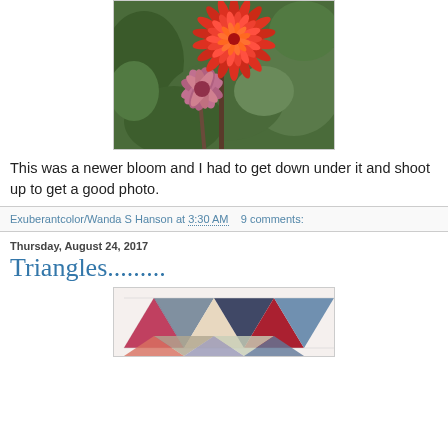[Figure (photo): Photograph of red/pink dahlia flowers in a garden with green foliage background]
This was a newer bloom and I had to get down under it and shoot up to get a good photo.
Exuberantcolor/Wanda S Hanson at 3:30 AM   9 comments:
Thursday, August 24, 2017
Triangles.........
[Figure (photo): Photograph of a quilt with colorful triangle pattern in various fabric prints]